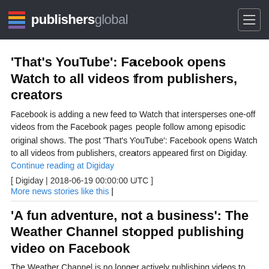publishersglobal
'That’s YouTube’: Facebook opens Watch to all videos from publishers, creators
Facebook is adding a new feed to Watch that intersperses one-off videos from the Facebook pages people follow among episodic original shows. The post ‘That’s YouTube’: Facebook opens Watch to all videos from publishers, creators appeared first on Digiday. Continue reading at Digiday
[ Digiday | 2018-06-19 00:00:00 UTC ]
More news stories like this |
‘A fun adventure, not a business’: The Weather Channel stopped publishing video on Facebook
The Weather Channel is no longer actively publishing videos to Facebook